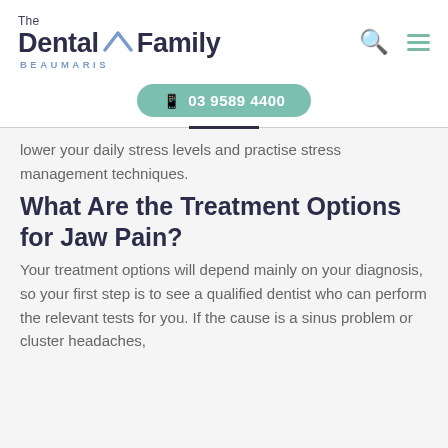[Figure (logo): The Dental Family Beaumaris logo with house icon and blue/dark navy text]
03 9589 4400
lower your daily stress levels and practise stress management techniques.
What Are the Treatment Options for Jaw Pain?
Your treatment options will depend mainly on your diagnosis, so your first step is to see a qualified dentist who can perform the relevant tests for you. If the cause is a sinus problem or cluster headaches,